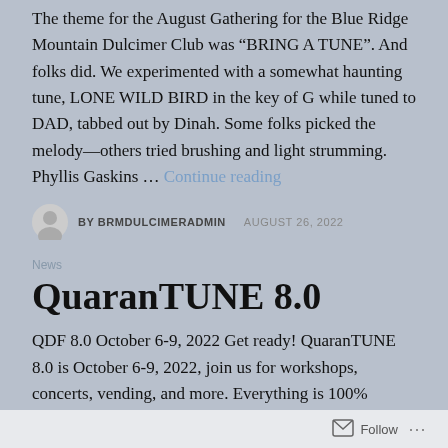The theme for the August Gathering for the Blue Ridge Mountain Dulcimer Club was “BRING A TUNE”. And folks did. We experimented with a somewhat haunting tune, LONE WILD BIRD in the key of G while tuned to DAD, tabbed out by Dinah. Some folks picked the melody—others tried brushing and light strumming. Phyllis Gaskins … Continue reading
BY BRMDULCIMERADMIN   AUGUST 26, 2022
News
QuaranTUNE 8.0
QDF 8.0 October 6-9, 2022 Get ready! QuaranTUNE 8.0 is October 6-9, 2022, join us for workshops, concerts, vending, and more. Everything is 100% online. No travel necessary! Workshop registration opens Sunday, August 28th @ 4pm Eastern Time Learn about the